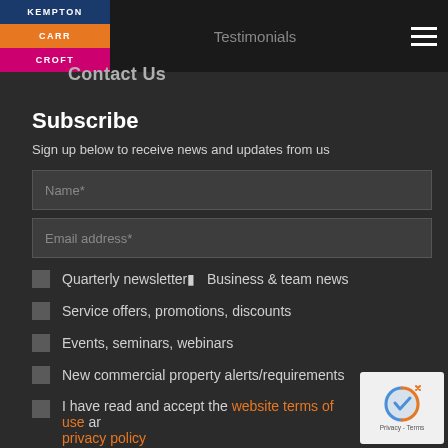Testimonials
Contact Us
Subscribe
Sign up below to receive news and updates from us
Quarterly newsletter  Business & team news
Service offers, promotions, discounts
Events, seminars, webinars
New commercial property alerts/requirements
I have read and accept the website terms of use and privacy policy